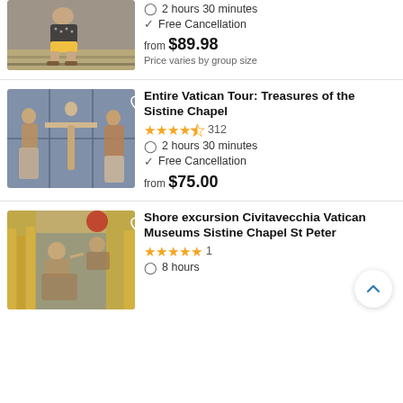[Figure (photo): Person sitting on steps, wearing a polka dot top and yellow shorts with sandals]
2 hours 30 minutes
Free Cancellation
from $89.98
Price varies by group size
[Figure (photo): Stone relief sculpture from Vatican showing multiple figures including crucifixion scene]
Entire Vatican Tour: Treasures of the Sistine Chapel
★★★★½ 312
2 hours 30 minutes
Free Cancellation
from $75.00
[Figure (photo): Sistine Chapel ceiling fresco showing the Creation of Adam by Michelangelo]
Shore excursion Civitavecchia Vatican Museums Sistine Chapel St Peter
★★★★★ 1
8 hours